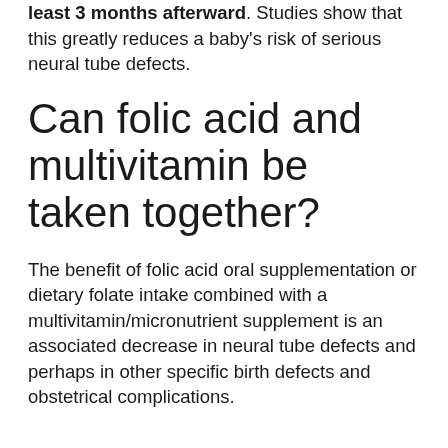least 3 months afterward. Studies show that this greatly reduces a baby's risk of serious neural tube defects.
Can folic acid and multivitamin be taken together?
The benefit of folic acid oral supplementation or dietary folate intake combined with a multivitamin/micronutrient supplement is an associated decrease in neural tube defects and perhaps in other specific birth defects and obstetrical complications.